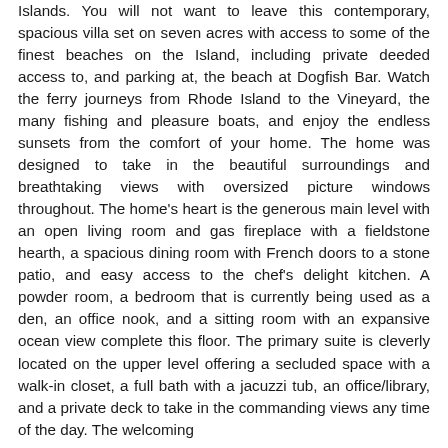Islands. You will not want to leave this contemporary, spacious villa set on seven acres with access to some of the finest beaches on the Island, including private deeded access to, and parking at, the beach at Dogfish Bar. Watch the ferry journeys from Rhode Island to the Vineyard, the many fishing and pleasure boats, and enjoy the endless sunsets from the comfort of your home. The home was designed to take in the beautiful surroundings and breathtaking views with oversized picture windows throughout. The home's heart is the generous main level with an open living room and gas fireplace with a fieldstone hearth, a spacious dining room with French doors to a stone patio, and easy access to the chef's delight kitchen. A powder room, a bedroom that is currently being used as a den, an office nook, and a sitting room with an expansive ocean view complete this floor. The primary suite is cleverly located on the upper level offering a secluded space with a walk-in closet, a full bath with a jacuzzi tub, an office/library, and a private deck to take in the commanding views any time of the day. The welcoming